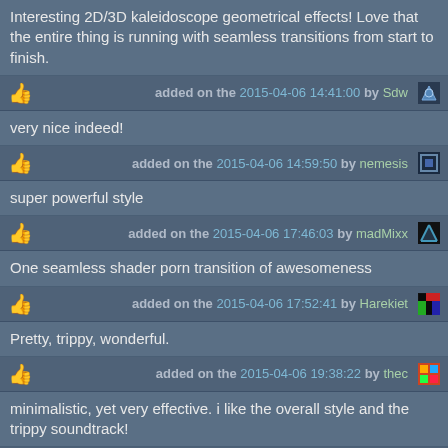Interesting 2D/3D kaleidoscope geometrical effects! Love that the entire thing is running with seamless transitions from start to finish.
added on the 2015-04-06 14:41:00 by Sdw
very nice indeed!
added on the 2015-04-06 14:59:50 by nemesis
super powerful style
added on the 2015-04-06 17:46:03 by madMixx
One seamless shader porn transition of awesomeness
added on the 2015-04-06 17:52:41 by Harekiet
Pretty, trippy, wonderful.
added on the 2015-04-06 19:38:22 by thec
minimalistic, yet very effective. i like the overall style and the trippy soundtrack!
added on the 2015-04-06 21:33:31 by a-move